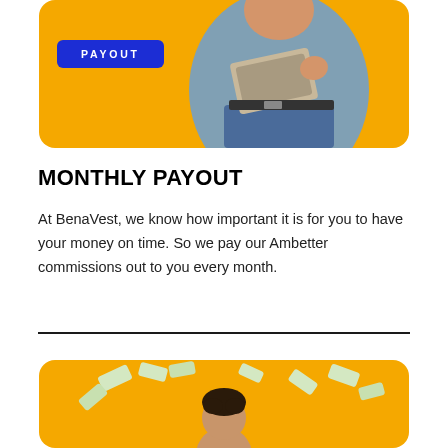[Figure (photo): Person holding a laptop on a yellow/orange rounded card background with a blue 'PAYOUT' badge overlay]
MONTHLY PAYOUT
At BenaVest, we know how important it is for you to have your money on time. So we pay our Ambetter commissions out to you every month.
[Figure (photo): Person with money/dollar bills falling around them on a yellow/orange rounded card background]